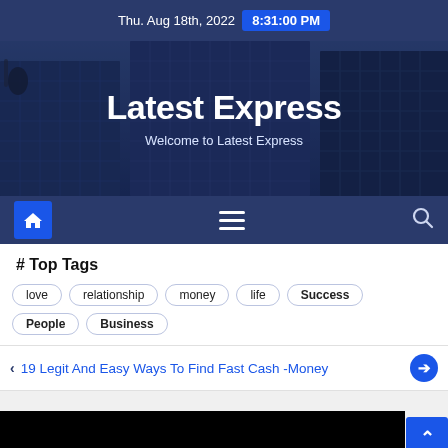Thu. Aug 18th, 2022  8:31:00 PM
[Figure (photo): Hero banner with city skyscrapers background showing glass buildings from below, overlaid with site title and subtitle]
Latest Express
Welcome to Latest Express
[Figure (infographic): Navigation bar with home button (blue), hamburger menu icon, and search icon on dark blue background]
# Top Tags
love
relationship
money
life
Success
People
Business
19 Legit And Easy Ways To Find Fast Cash -Money